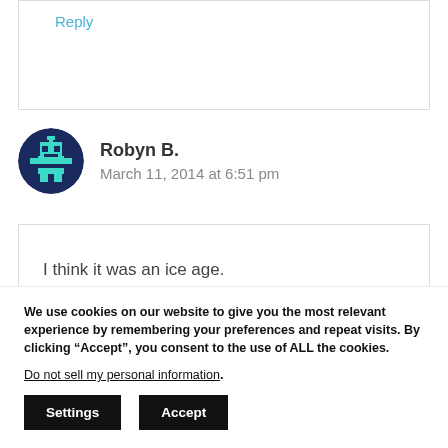Reply
Robyn B.
March 11, 2014 at 6:51 pm
I think it was an ice age.
We use cookies on our website to give you the most relevant experience by remembering your preferences and repeat visits. By clicking “Accept”, you consent to the use of ALL the cookies.
Do not sell my personal information.
Settings
Accept